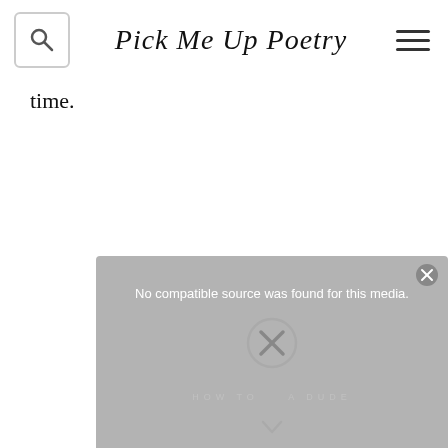Pick Me Up Poetry
time.
[Figure (screenshot): A gray media player overlay showing 'No compatible source was found for this media.' with a close button and an X icon, with faint 'HOW TO A DUDE' text and a downward arrow below.]